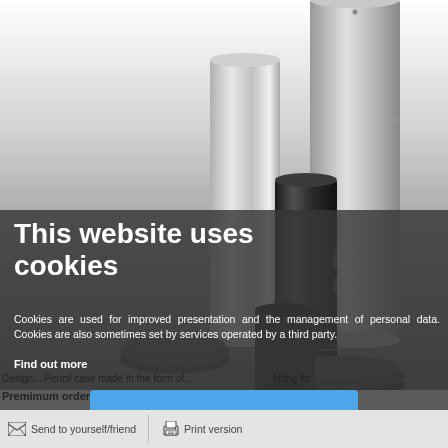[Figure (photo): Multiple metal and black cylinder/tube containers with lids, some open, arranged on a white-to-grey background. Items appear to be pencil cases or storage tubes in various sizes made of stainless steel and anodized black aluminum.]
This website uses cookies
Cookies are used for improved presentation and the management of personal data. Cookies are also sometimes set by services operated by a third party.
Find out more
Design... Pencil case made in the form of... with fitting lid...
Premimum orders for the ... individual
[Figure (other): Blue 'I agree' button for cookie consent]
Send to yourself/friend
Print version